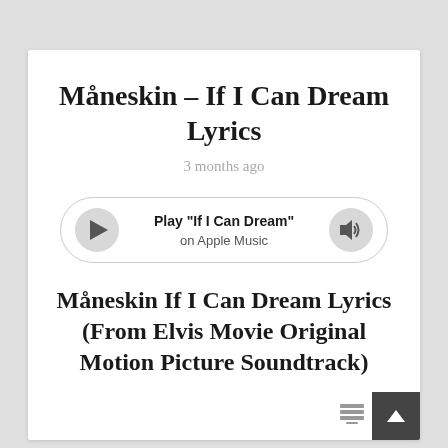Måneskin – If I Can Dream Lyrics
3 months ago
[Figure (other): Audio player bar with play button, 'Play "If I Can Dream" on Apple Music' text, and volume button]
Måneskin If I Can Dream Lyrics (From Elvis Movie Original Motion Picture Soundtrack)